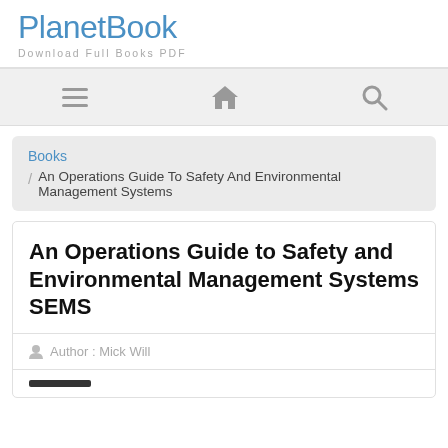PlanetBook
Download Full Books PDF
[Figure (other): Navigation bar with three icons: hamburger menu, home, and search]
Books / An Operations Guide To Safety And Environmental Management Systems
An Operations Guide to Safety and Environmental Management Systems SEMS
Author : Mick Will